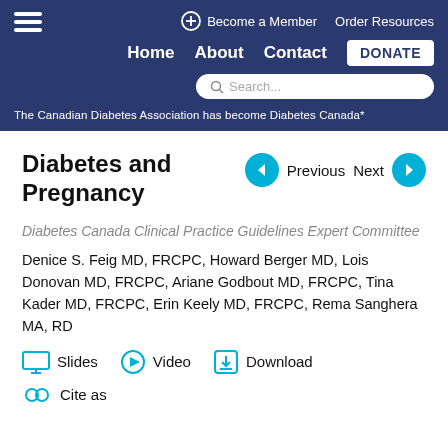Become a Member   Order Resources   Home   About   Contact   DONATE   Search...
The Canadian Diabetes Association has become Diabetes Canada*
Diabetes and Pregnancy
Previous   Next
Diabetes Canada Clinical Practice Guidelines Expert Committee
Denice S. Feig MD, FRCPC, Howard Berger MD, Lois Donovan MD, FRCPC, Ariane Godbout MD, FRCPC, Tina Kader MD, FRCPC, Erin Keely MD, FRCPC, Rema Sanghera MA, RD
Slides   Video   Download
Cite as